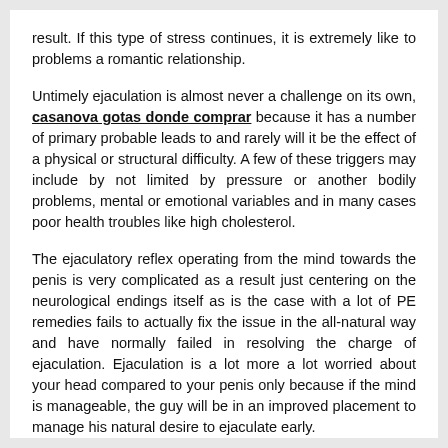result. If this type of stress continues, it is extremely like to problems a romantic relationship.
Untimely ejaculation is almost never a challenge on its own, casanova gotas donde comprar because it has a number of primary probable leads to and rarely will it be the effect of a physical or structural difficulty. A few of these triggers may include by not limited by pressure or another bodily problems, mental or emotional variables and in many cases poor health troubles like high cholesterol.
The ejaculatory reflex operating from the mind towards the penis is very complicated as a result just centering on the neurological endings itself as is the case with a lot of PE remedies fails to actually fix the issue in the all-natural way and have normally failed in resolving the charge of ejaculation. Ejaculation is a lot more a lot worried about your head compared to your penis only because if the mind is manageable, the guy will be in an improved placement to manage his natural desire to ejaculate early.